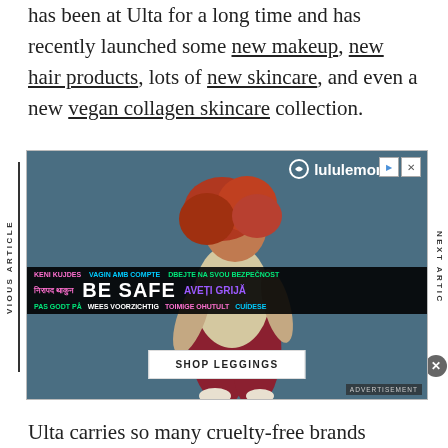has been at Ulta for a long time and has recently launched some new makeup, new hair products, lots of new skincare, and even a new vegan collagen skincare collection.
[Figure (photo): Advertisement for lululemon showing a woman with red curly hair in athletic wear (cream top, dark red leggings) against a blue-grey background, with a 'SHOP LEGGINGS' button and a multilingual 'BE SAFE' overlay banner.]
Ulta carries so many cruelty-free brands